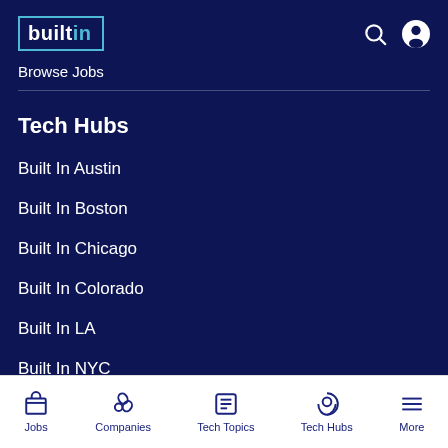[Figure (logo): Built In logo with cyan bracket outline on dark navy background]
Browse Jobs
Tech Hubs
Built In Austin
Built In Boston
Built In Chicago
Built In Colorado
Built In LA
Built In NYC
Jobs  Companies  Tech Topics  Tech Hubs  More